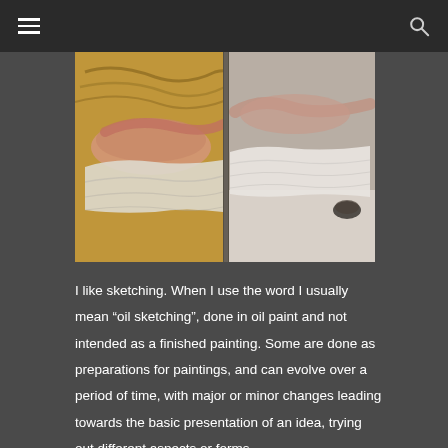[Figure (photo): A painting on an easel showing a reclining nude figure on white drapery with a warm ochre/golden background on the left panel, and a reference photo or mirror image of the same pose with white fabric and a small dark object on a light surface on the right.]
I like sketching. When I use the word I usually mean “oil sketching”, done in oil paint and not intended as a finished painting. Some are done as preparations for paintings, and can evolve over a period of time, with major or minor changes leading towards the basic presentation of an idea, trying out different aspects or forms,